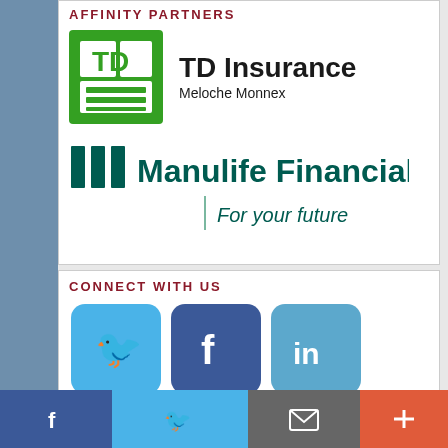AFFINITY PARTNERS
[Figure (logo): TD Insurance Meloche Monnex logo — green TD square icon with white TD letters, next to bold 'TD Insurance' and subtitle 'Meloche Monnex']
[Figure (logo): Manulife Financial logo — green triple-bar icon next to 'Manulife Financial' in dark green, with tagline 'For your future']
CONNECT WITH US
[Figure (illustration): Three social media icon buttons: Twitter (light blue rounded square with white bird), Facebook (dark blue rounded square with white f), LinkedIn (medium blue rounded square with white 'in')]
Facebook | Twitter | Email | More
© 2022 Minnisota Whitewater Magazine. All rights reserved.